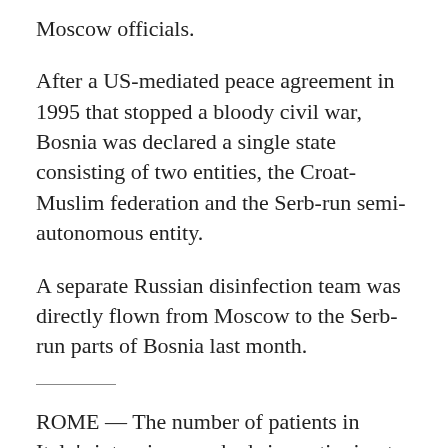Moscow officials.
After a US-mediated peace agreement in 1995 that stopped a bloody civil war, Bosnia was declared a single state consisting of two entities, the Croat-Muslim federation and the Serb-run semi-autonomous entity.
A separate Russian disinfection team was directly flown from Moscow to the Serb-run parts of Bosnia last month.
ROME — The number of patients in Italy's intensive care beds is continuing to decline.
(partial text at bottom)